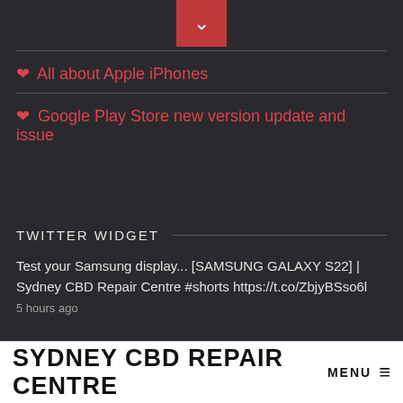❤ All about Apple iPhones
❤ Google Play Store new version update and issue
TWITTER WIDGET
Test your Samsung display... [SAMSUNG GALAXY S22] | Sydney CBD Repair Centre #shorts https://t.co/ZbjyBSso6l
5 hours ago
SYDNEY CBD REPAIR CENTRE MENU ≡